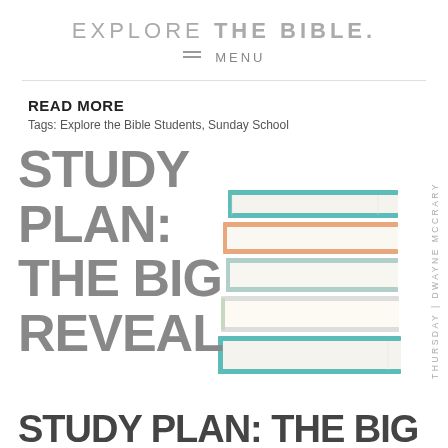EXPLORE THE BIBLE.
MENU
READ MORE
Tags: Explore the Bible Students, Sunday School
STUDY PLAN: THE BIG REVEAL
[Figure (photo): A stack of books with colorful spines piled on top of each other on a white background]
THURSDAY | DWAYNE MCCRARY
STUDY PLAN: THE BIG